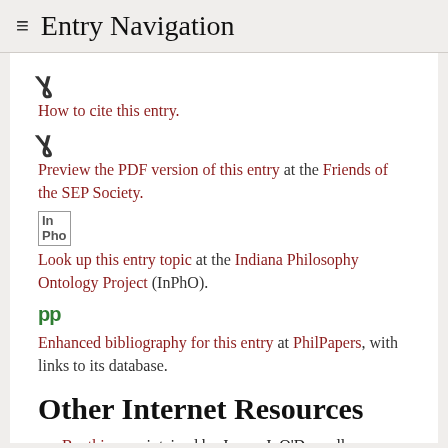≡ Entry Navigation
How to cite this entry.
Preview the PDF version of this entry at the Friends of the SEP Society.
Look up this entry topic at the Indiana Philosophy Ontology Project (InPhO).
Enhanced bibliography for this entry at PhilPapers, with links to its database.
Other Internet Resources
Boethius, maintained by James J. O'Donnell, Georgetown University (includes a line-by-line commentary on the Consolation).
Spade, P.V. (1996) 'Boethius against Universals:'